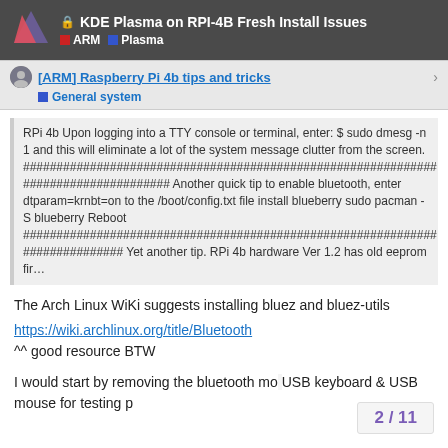🔒 KDE Plasma on RPI-4B Fresh Install Issues — ARM · Plasma
[ARM] Raspberry Pi 4b tips and tricks — General system
RPi 4b Upon logging into a TTY console or terminal, enter: $ sudo dmesg -n 1 and this will eliminate a lot of the system message clutter from the screen. ############################################################## ###################### Another quick tip to enable bluetooth, enter dtparam=krnbt=on to the /boot/config.txt file install blueberry sudo pacman -S blueberry Reboot ############################################################## ############### Yet another tip. RPi 4b hardware Ver 1.2 has old eeprom fir…
The Arch Linux WiKi suggests installing bluez and bluez-utils
https://wiki.archlinux.org/title/Bluetooth
^^ good resource BTW
I would start by removing the bluetooth mo USB keyboard & USB mouse for testing p
2 / 11